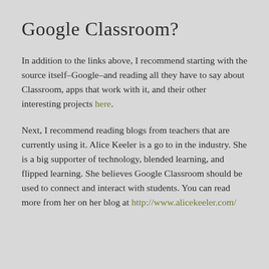Google Classroom?
In addition to the links above, I recommend starting with the source itself–Google–and reading all they have to say about Classroom, apps that work with it, and their other interesting projects here.
Next, I recommend reading blogs from teachers that are currently using it. Alice Keeler is a go to in the industry. She is a big supporter of technology, blended learning, and flipped learning. She believes Google Classroom should be used to connect and interact with students. You can read more from her on her blog at http://www.alicekeeler.com/